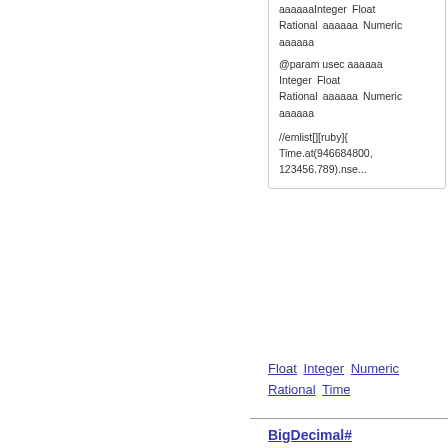ааааааIntegerа Floatа RationalааааааNumericа аааааа
@param usec аааааа Integerа Floatа RationalааааааNumericа аааааа
//emlist[][ruby]{ Time.at(946684800, 123456.789).nse...
Float Integer Numeric Rational Time
BigDecimal# coerce(other) -> Array